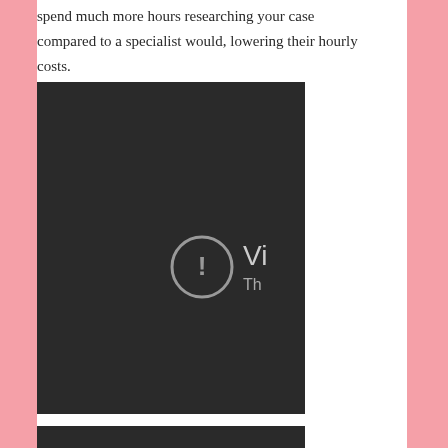spend much more hours researching your case compared to a specialist would, lowering their hourly costs.
[Figure (screenshot): Embedded video player with dark background showing an error/unavailable state. A circular exclamation mark icon is visible in the center-left area, with partial text 'Vi' and 'Th' visible on the right side, indicating a video unavailability message.]
[Figure (screenshot): Second embedded video player with dark background, partially visible at the bottom of the page.]